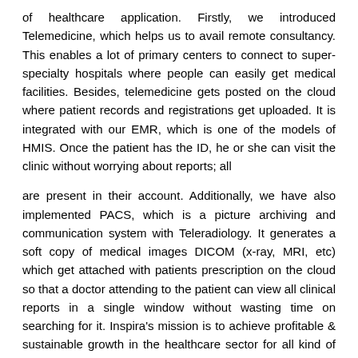of healthcare application. Firstly, we introduced Telemedicine, which helps us to avail remote consultancy. This enables a lot of primary centers to connect to super-specialty hospitals where people can easily get medical facilities. Besides, telemedicine gets posted on the cloud where patient records and registrations get uploaded. It is integrated with our EMR, which is one of the models of HMIS. Once the patient has the ID, he or she can visit the clinic without worrying about reports; all
are present in their account. Additionally, we have also implemented PACS, which is a picture archiving and communication system with Teleradiology. It generates a soft copy of medical images DICOM (x-ray, MRI, etc) which get attached with patients prescription on the cloud so that a doctor attending to the patient can view all clinical reports in a single window without wasting time on searching for it. Inspira's mission is to achieve profitable & sustainable growth in the healthcare sector for all kind of medical attention.
Please narrate one of your achievements that have left a foot print in Inspira's journey to success.
We are currently instituting with the Municipal Corporation of